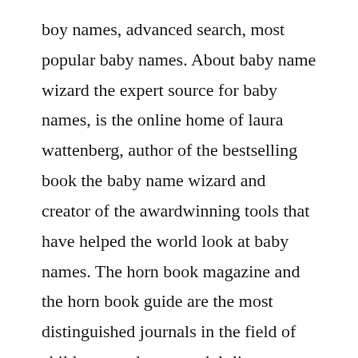boy names, advanced search, most popular baby names. About baby name wizard the expert source for baby names, is the online home of laura wattenberg, author of the bestselling book the baby name wizard and creator of the awardwinning tools that have helped the world look at baby names. The horn book magazine and the horn book guide are the most distinguished journals in the field of children s and young adult literature and the core of our company. Personalized kids books allows your child to become the main